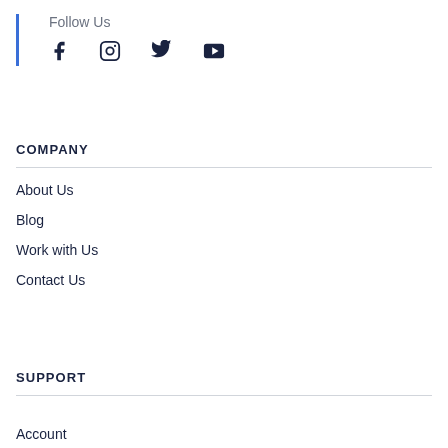Follow Us
[Figure (illustration): Social media icons: Facebook, Instagram, Twitter, YouTube]
COMPANY
About Us
Blog
Work with Us
Contact Us
SUPPORT
Account